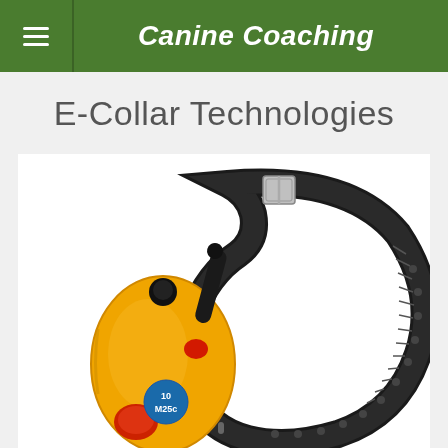Canine Coaching
E-Collar Technologies
[Figure (photo): E-collar training device: a yellow handheld remote transmitter with black antenna and a blue button labeled '10 M25c', alongside a black adjustable dog collar strap with metal buckle and holes, on a white background.]